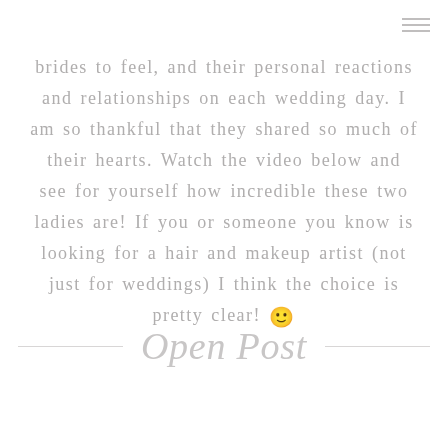brides to feel, and their personal reactions and relationships on each wedding day. I am so thankful that they shared so much of their hearts. Watch the video below and see for yourself how incredible these two ladies are! If you or someone you know is looking for a hair and makeup artist (not just for weddings) I think the choice is pretty clear! 🙂
Open Post